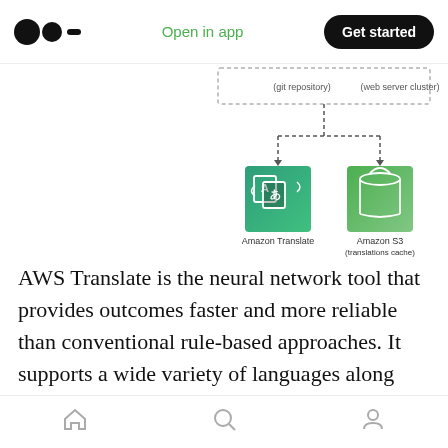Open in app | Get started
[Figure (schematic): AWS architecture diagram showing a git repository and web server cluster at top connected by dotted lines to Amazon Translate and Amazon S3 (translations cache) icons below]
AWS Translate is the neural network tool that provides outcomes faster and more reliable than conventional rule-based approaches. It supports a wide variety of languages along with personalized vocabulary that enables you to define names, organization, and how it is interpreted. It facilitates bulk / fast text data
Home | Search | Profile